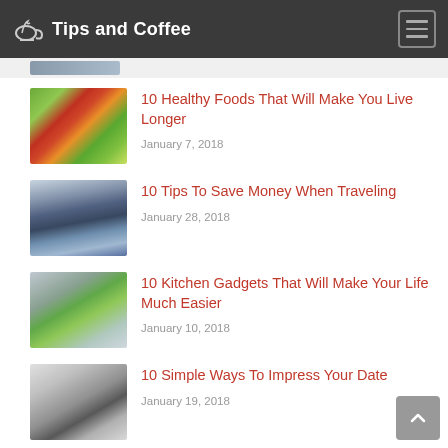Tips and Coffee
10 Healthy Foods That Will Make You Live Longer — January 7, 2018
10 Tips To Save Money When Traveling — January 28, 2018
10 Kitchen Gadgets That Will Make Your Life Much Easier — January 10, 2018
10 Simple Ways To Impress Your Date — January 19, 2018